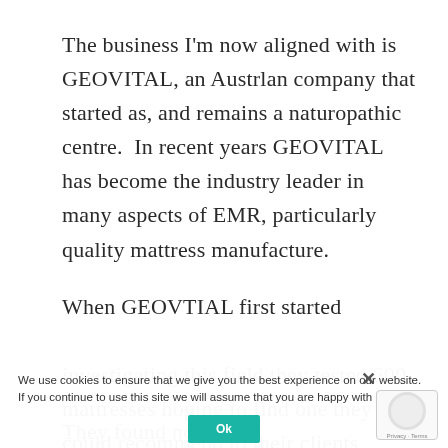The business I'm now aligned with is GEOVITAL, an Austrlan company that started as, and remains a naturopathic centre.  In recent years GEOVITAL has become the industry leader in many aspects of EMR, particularly quality mattress manufacture.
When GEOVTIAL first started investigating this field they tested 600 mattresses hoping to find one they could recommend to their clients.
They found none.
We use cookies to ensure that we give you the best experience on our website. If you continue to use this site we will assume that you are happy with it.